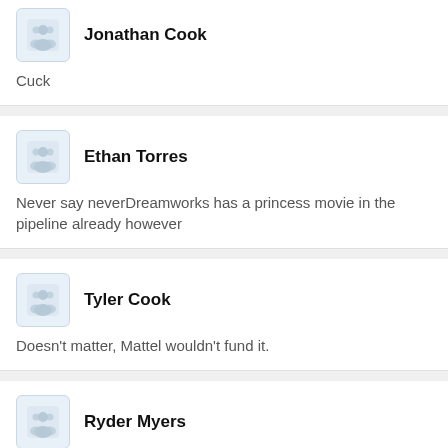Jonathan Cook
Cuck
Ethan Torres
Never say neverDreamworks has a princess movie in the pipeline already however
Tyler Cook
Doesn't matter, Mattel wouldn't fund it.
Ryder Myers
A movie isn't happening now go to sleep
Oliver Peterson